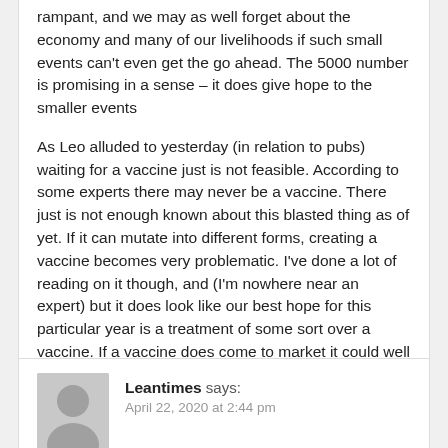rampant, and we may as well forget about the economy and many of our livelihoods if such small events can't even get the go ahead. The 5000 number is promising in a sense – it does give hope to the smaller events
As Leo alluded to yesterday (in relation to pubs) waiting for a vaccine just is not feasible. According to some experts there may never be a vaccine. There just is not enough known about this blasted thing as of yet. If it can mutate into different forms, creating a vaccine becomes very problematic. I've done a lot of reading on it though, and (I'm nowhere near an expert) but it does look like our best hope for this particular year is a treatment of some sort over a vaccine. If a vaccine does come to market it could well be 2022 before widespread distribution and immunity may only last months at best
Leantimes says: April 22, 2020 at 2:44 pm